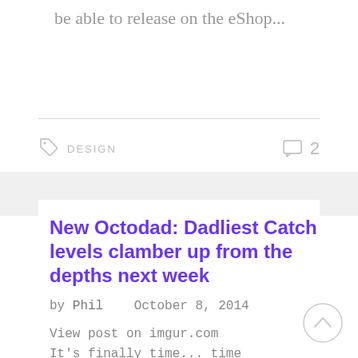be able to release on the eShop...
DESIGN   2
New Octodad: Dadliest Catch levels clamber up from the depths next week
by Phil   October 8, 2014
View post on imgur.com It's finally time... time for two brand spankin'